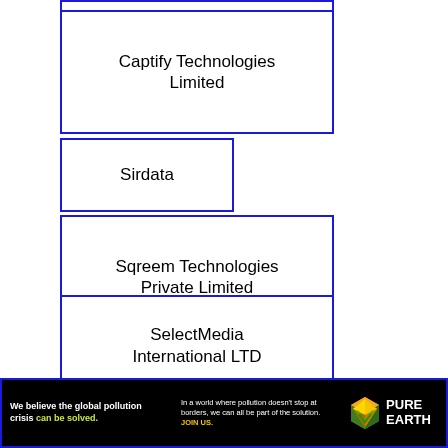[Figure (organizational-chart): Organizational chart nodes showing company names in blue-bordered boxes: Captify Technologies Limited, Sirdata, Sqreem Technologies Private Limited, Blis Global Limited, SelectMedia International LTD, MPX GmbH]
[Figure (other): Advertisement banner for Pure Earth organization: 'We believe the global pollution crisis can be solved.' with Pure Earth logo]